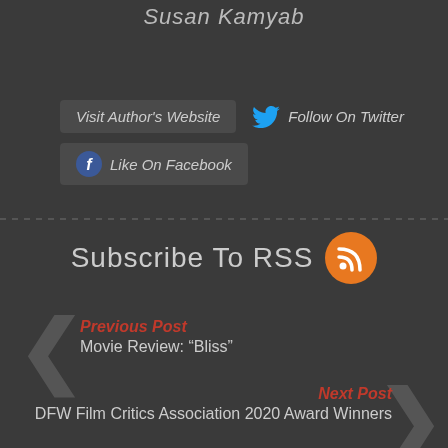Susan Kamyab
Visit Author's Website
Follow On Twitter
Like On Facebook
Subscribe To RSS
Previous Post
Movie Review: “Bliss”
Next Post
DFW Film Critics Association 2020 Award Winners